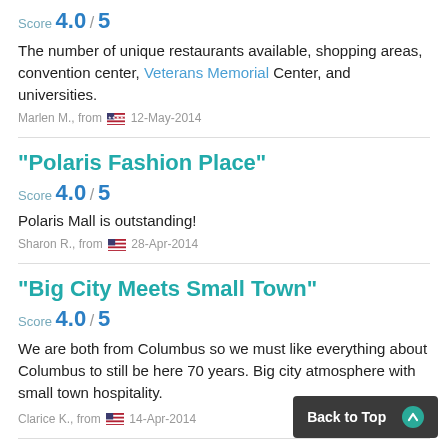Score 4.0 / 5
The number of unique restaurants available, shopping areas, convention center, Veterans Memorial Center, and universities.
Marlen M., from 🇺🇸 12-May-2014
"Polaris Fashion Place"
Score 4.0 / 5
Polaris Mall is outstanding!
Sharon R., from 🇺🇸 28-Apr-2014
"Big City Meets Small Town"
Score 4.0 / 5
We are both from Columbus so we must like everything about Columbus to still be here 70 years. Big city atmosphere with small town hospitality.
Clarice K., from 🇺🇸 14-Apr-2014
"Some beautiful features"